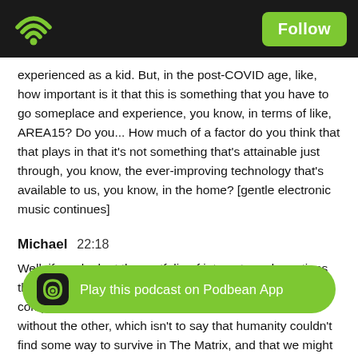Follow
experienced as a kid. But, in the post-COVID age, like, how important is it that this is something that you have to go someplace and experience, you know, in terms of like, AREA15? Do you... How much of a factor do you think that that plays in that it's not something that's attainable just through, you know, the ever-improving technology that's available to us, you know, in the home? [gentle electronic music continues]
Michael  22:18
Well, if you look at the portfolio of interests and creations that I'm working on, I think that the answer is I believe completely in all of it. I don't think one effectively works without the other, which isn't to say that humanity couldn't find some way to survive in The Matrix, and that we might be able to upload ourselves into it, but would our lives actually be better, you know? And, you know, maybe the generations to come will think very differently about it, but for me, my hedge is that it's the two, combined, with a really artful portal in between th... you that no new tec... ds another tool as the kit, right? And then it becomes what the...
Play this podcast on Podbean App